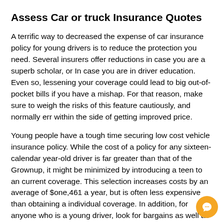Assess Car or truck Insurance Quotes
A terrific way to decreased the expense of car insurance policy for young drivers is to reduce the protection you need. Several insurers offer reductions in case you are a superb scholar, or In case you are in driver education. Even so, lessening your coverage could lead to big out-of-pocket bills if you have a mishap. For that reason, make sure to weigh the risks of this feature cautiously, and normally err within the side of getting improved price.
Young people have a tough time securing low cost vehicle insurance policy. While the cost of a policy for any sixteen-calendar year-old driver is far greater than that of the Grownup, it might be minimized by introducing a teen to an current coverage. This selection increases costs by an average of $one,461 a year, but is often less expensive than obtaining a individual coverage. In addition, for anyone who is a young driver, look for bargains as well as other ways to